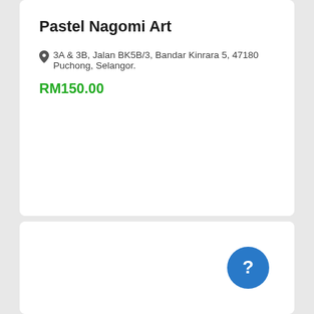Pastel Nagomi Art
3A & 3B, Jalan BK5B/3, Bandar Kinrara 5, 47180 Puchong, Selangor.
RM150.00
[Figure (other): Blue circular help/question mark button in lower right area of second card]